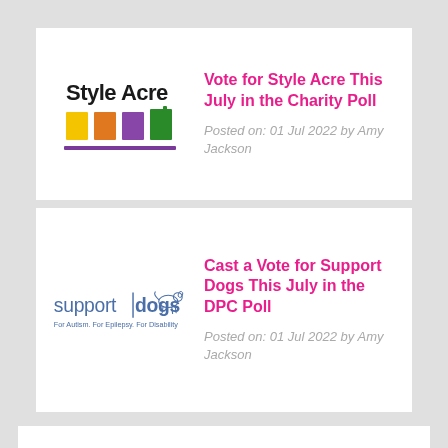[Figure (logo): Style Acre logo with text 'Style Acre' and colored rectangular icons (yellow, orange, purple, green) with a purple underline bar]
Vote for Style Acre This July in the Charity Poll
Posted on: 01 Jul 2022 by Amy Jackson
[Figure (logo): Support Dogs logo with text 'supportdogs' and tagline 'For Autism. For Epilepsy. For Disability' with a dog illustration]
Cast a Vote for Support Dogs This July in the DPC Poll
Posted on: 01 Jul 2022 by Amy Jackson